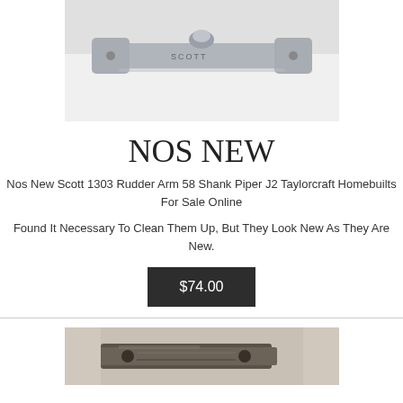[Figure (photo): Photo of a NOS New Scott 1303 Rudder Arm, a metal cast part with mounting flanges, viewed from above on a light background. The part has 'SCOTT' engraved on it.]
NOS NEW
Nos New Scott 1303 Rudder Arm 58 Shank Piper J2 Taylorcraft Homebuilts For Sale Online
Found It Necessary To Clean Them Up, But They Look New As They Are New.
$74.00
[Figure (photo): Partial photo of a metal bracket or arm part, dark metallic finish, shown at an angle on a light background.]